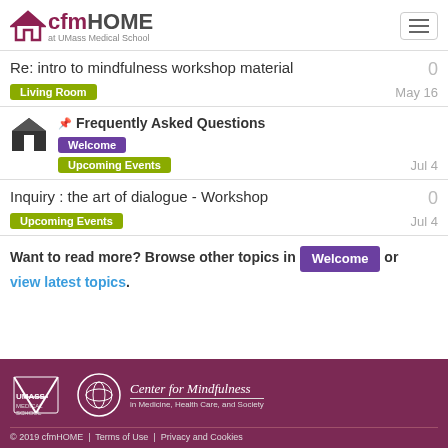cfmHOME at UMass Medical School
Re: intro to mindfulness workshop material
Living Room
May 16
0
Frequently Asked Questions
Welcome
Upcoming Events
Jul 4
Inquiry : the art of dialogue - Workshop
Upcoming Events
Jul 4
0
Want to read more? Browse other topics in Welcome or view latest topics.
© 2019 cfmHOME | Terms of Use | Privacy and Cookies